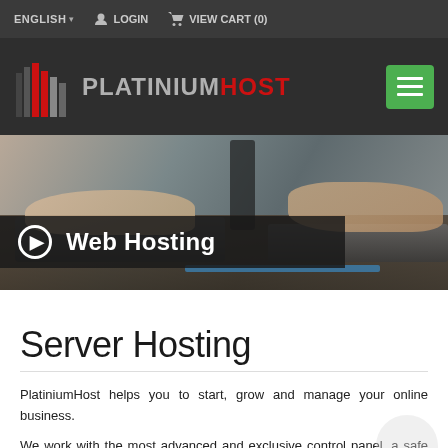ENGLISH ▾   LOGIN   VIEW CART (0)
[Figure (logo): PlatiniumHost logo with red/grey building graphic and PLATINIUMHOST text, hamburger menu button on right]
[Figure (photo): Blurred office scene with people typing on keyboards, dark desk surface, blue stripe visible]
Web Hosting
Server Hosting
PlatiniumHost helps you to start, grow and manage your online business.
We work with the most advanced and exclusive control panel, a safe and reliable technological platform. Technical support 24/7 the clock works for...